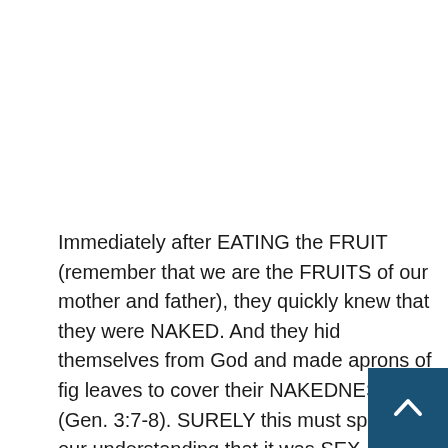Immediately after EATING the FRUIT (remember that we are the FRUITS of our mother and father), they quickly knew that they were NAKED. And they hid themselves from God and made aprons of fig leaves to cover their NAKEDNESS (Gen. 3:7-8). SURELY this must speak to our understanding that it was SEX, and NOT EATING APPLES (or else Ada and Eve could have made aprons for their mout rather covering their private parts).